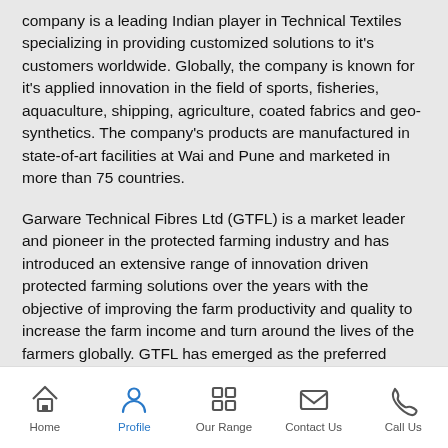company is a leading Indian player in Technical Textiles specializing in providing customized solutions to it's customers worldwide. Globally, the company is known for it's applied innovation in the field of sports, fisheries, aquaculture, shipping, agriculture, coated fabrics and geo-synthetics. The company's products are manufactured in state-of-art facilities at Wai and Pune and marketed in more than 75 countries.
Garware Technical Fibres Ltd (GTFL) is a market leader and pioneer in the protected farming industry and has introduced an extensive range of innovation driven protected farming solutions over the years with the objective of improving the farm productivity and quality to increase the farm income and turn around the lives of the farmers globally. GTFL has emerged as the preferred choice for the farmers over the years due to its unwavering commitment to innovation, quality, superior on-field product performance, customer service and agronomy support. An extensive range of protected cultivation solutions suited
Home | Profile | Our Range | Contact Us | Call Us